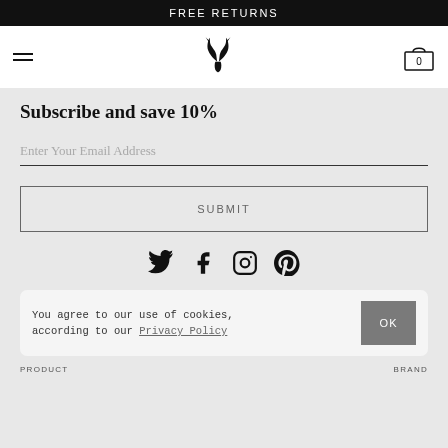FREE RETURNS
[Figure (logo): Deer antler logo mark centered in nav bar]
Subscribe and save 10%
Enter Your Email Address
SUBMIT
[Figure (illustration): Social media icons row: Twitter, Facebook, Instagram, Pinterest]
You agree to our use of cookies, according to our Privacy Policy  OK
PRODUCT   BRAND